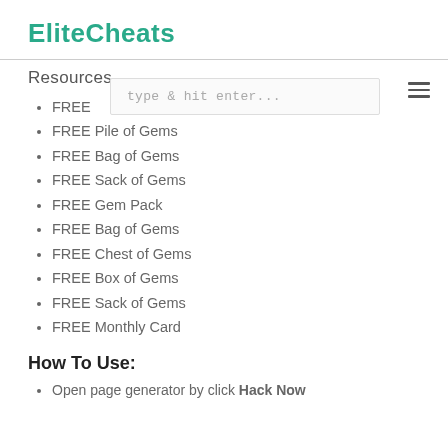EliteCheats
Resources
FREE
FREE Pile of Gems
FREE Bag of Gems
FREE Sack of Gems
FREE Gem Pack
FREE Bag of Gems
FREE Chest of Gems
FREE Box of Gems
FREE Sack of Gems
FREE Monthly Card
How To Use:
Open page generator by click Hack Now